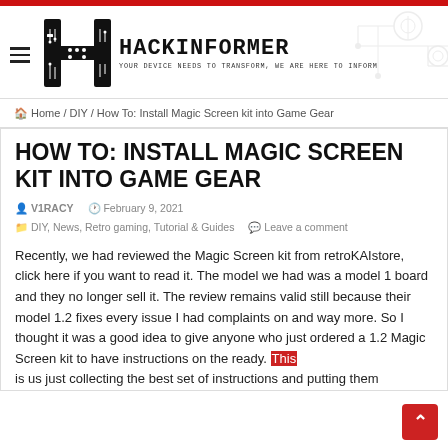HACKiNFORMER — YOUR DEVICE NEEDS TO TRANSFORM, WE ARE HERE TO INFORM
Home / DIY / How To: Install Magic Screen kit into Game Gear
HOW TO: INSTALL MAGIC SCREEN KIT INTO GAME GEAR
V1RACY   February 9, 2021
DIY, News, Retro gaming, Tutorial & Guides   Leave a comment
Recently, we had reviewed the Magic Screen kit from retroKAIstore, click here if you want to read it. The model we had was a model 1 board and they no longer sell it. The review remains valid still because their model 1.2 fixes every issue I had complaints on and way more. So I thought it was a good idea to give anyone who just ordered a 1.2 Magic Screen kit to have instructions on the ready. This is us just collecting the best set of instructions and putting them